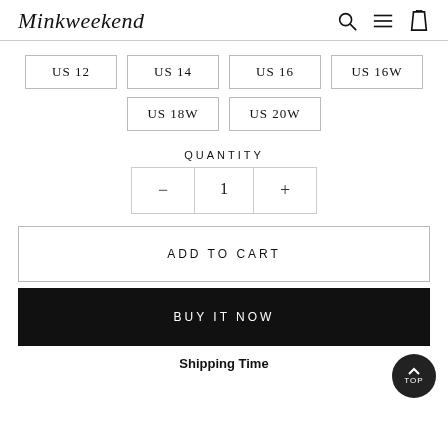Minkweekend
US 12
US 14
US 16
US 16W
US 18W
US 20W
QUANTITY
1
ADD TO CART
BUY IT NOW
TOP
Shipping Time